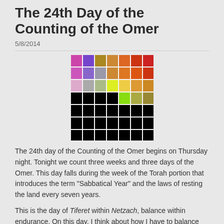The 24th Day of the Counting of the Omer
5/8/2014
[Figure (other): A 7-column by 7-row grid of colored squares representing the counting of the Omer. The top rows show vivid colors (pink, purple, gold, orange, red) fading through lighter tones, and the bottom rows are mostly black, with a few colored squares indicating days counted so far.]
The 24th day of the Counting of the Omer begins on Thursday night. Tonight we count three weeks and three days of the Omer. This day falls during the week of the Torah portion that introduces the term "Sabbatical Year" and the laws of resting the land every seven years.
This is the day of Tiferet within Netzach, balance within endurance. On this day, I think about how I have to balance my life with restoring rest in order to achieve my long-term goals. I